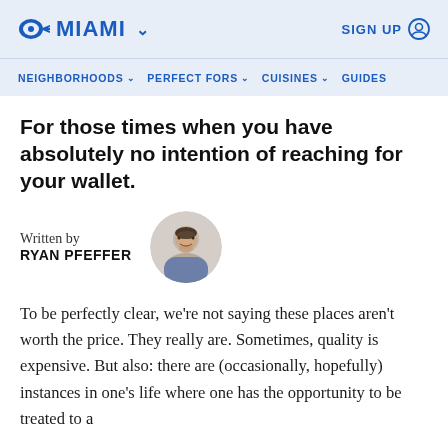MIAMI  SIGN UP
NEIGHBORHOODS  PERFECT FORS  CUISINES  GUIDES
For those times when you have absolutely no intention of reaching for your wallet.
Written by
RYAN PFEFFER
To be perfectly clear, we're not saying these places aren't worth the price. They really are. Sometimes, quality is expensive. But also: there are (occasionally, hopefully) instances in one's life where one has the opportunity to be treated to a